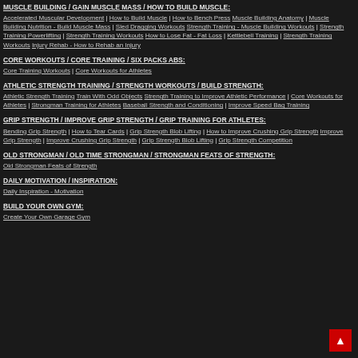MUSCLE BUILDING / GAIN MUSCLE MASS / HOW TO BUILD MUSCLE:
Accelerated Muscular Development | How to Build Muscle | How to Bench Press Muscle Building Anatomy | Muscle Building Nutrition - Build Muscle Mass | Sled Dragging Workouts Strength Training - Muscle Building Workouts | Strength Training Powerlifting | Strength Training Workouts How to Lose Fat - Fat Loss | Kettlebell Training | Strength Training Workouts Injury Rehab - How to Rehab an Injury
CORE WORKOUTS / CORE TRAINING / SIX PACKS ABS:
Core Training Workouts | Core Workouts for Athletes
ATHLETIC STRENGTH TRAINING / STRENGTH WORKOUTS / BUILD STRENGTH:
Athletic Strength Training Train With Odd Objects Strength Training to Improve Athletic Performance | Core Workouts for Athletes | Strongman Training for Athletes Baseball Strength and Conditioning | Improve Speed Bag Training
GRIP STRENGTH / IMPROVE GRIP STRENGTH / GRIP TRAINING FOR ATHLETES:
Bending Grip Strength | How to Tear Cards | Grip Strength Blob Lifting | How to Improve Crushing Grip Strength Improve Grip Strength | Improve Crushing Grip Strength | Grip Strength Blob Lifting | Grip Strength Competition
OLD STRONGMAN / OLD TIME STRONGMAN / STRONGMAN FEATS OF STRENGTH:
Old Strongman Feats of Strength
DAILY MOTIVATION / INSPIRATION:
Daily Inspiration - Motivation
BUILD YOUR OWN GYM:
Create Your Own Garage Gym